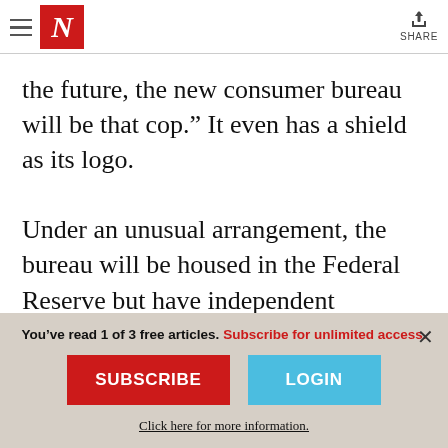The Nation — Header with hamburger menu, N logo, and Share button
the future, the new consumer bureau will be that cop.” It even has a shield as its logo.

Under an unusual arrangement, the bureau will be housed in the Federal Reserve but have independent authority. Despite claims about its unlimited power, the CFPB is the only banking regulator whose budget will be
You’ve read 1 of 3 free articles. Subscribe for unlimited access.
SUBSCRIBE
LOGIN
Click here for more information.